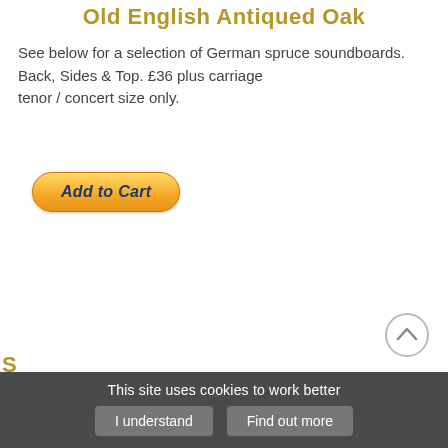Old English Antiqued Oak
See below for a selection of German spruce soundboards. Back, Sides & Top. £36 plus carriage tenor / concert size only.
[Figure (other): Add to Cart button (PayPal-style orange gradient button with dark blue italic bold text)]
[Figure (other): Scroll-to-top circular arrow button]
S... (partial heading text cut off at bottom)
This site uses cookies to work better | I understand | Find out more